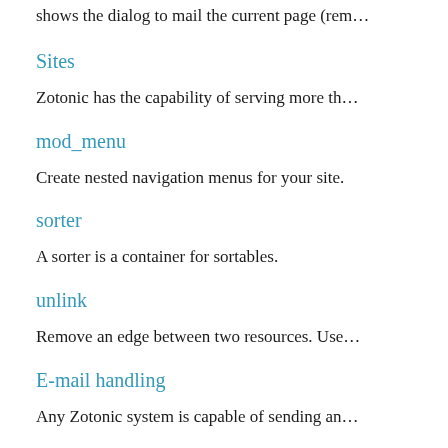shows the dialog to mail the current page (rem…
Sites
Zotonic has the capability of serving more th…
mod_menu
Create nested navigation menus for your site.
sorter
A sorter is a container for sortables.
unlink
Remove an edge between two resources. Use…
E-mail handling
Any Zotonic system is capable of sending an…
mod_email_relay
Enables the Zotonic site to relay emails for th…